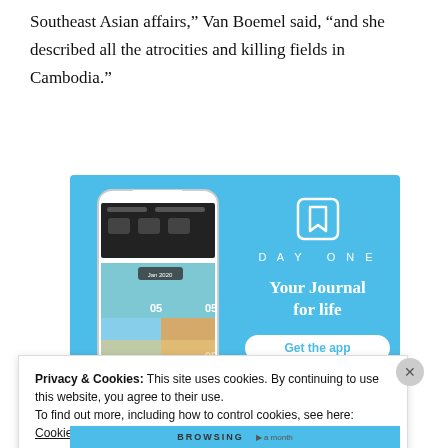Southeast Asian affairs,” Van Boemel said, “and she described all the atrocities and killing fields in Cambodia.”
[Figure (screenshot): DayOne app advertisement on blue background showing a smartphone with journal entries and text 'Your Journal for life' with a 'Get the app' button]
Privacy & Cookies: This site uses cookies. By continuing to use this website, you agree to their use.
To find out more, including how to control cookies, see here: Cookie Policy
Close and accept
BROWSING